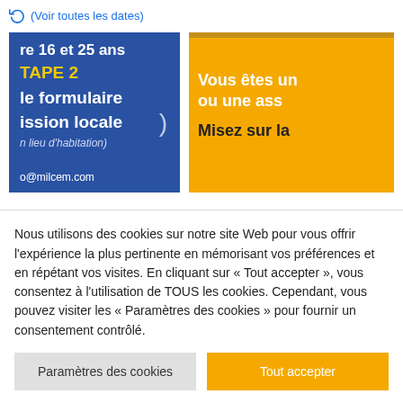(Voir toutes les dates)
[Figure (screenshot): Two promotional banner images side by side. Left: blue background with text 're 16 et 25 ans', 'TAPE 2', 'le formulaire', 'ission locale', 'n lieu d'habitation)', and 'o@milcem.com'. Right: orange/yellow background with text 'Vous êtes un', 'ou une ass', 'Misez sur la'.]
Nous utilisons des cookies sur notre site Web pour vous offrir l'expérience la plus pertinente en mémorisant vos préférences et en répétant vos visites. En cliquant sur « Tout accepter », vous consentez à l'utilisation de TOUS les cookies. Cependant, vous pouvez visiter les « Paramètres des cookies » pour fournir un consentement contrôlé.
Paramètres des cookies
Tout accepter